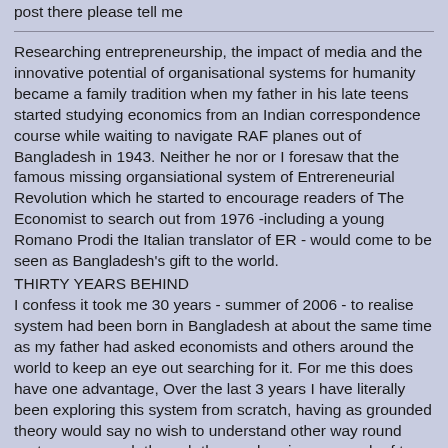post there please tell me
Researching entrepreneurship, the impact of media and the innovative potential of organisational systems for humanity became a family tradition when my father in his late teens started studying economics from an Indian correspondence course while waiting to navigate RAF planes out of Bangladesh in 1943. Neither he nor or I foresaw that the famous missing organsiational system of Entrereneurial Revolution which he started to encourage readers of The Economist to search out from 1976 -including a young Romano Prodi the Italian translator of ER - would come to be seen as Bangladesh's gift to the world.
THIRTY YEARS BEHIND
I confess it took me 30 years - summer of 2006 - to realise system had been born in Bangladesh at about the same time as my father had asked economists and others around the world to keep an eye out searching for it. For me this does have one advantage, Over the last 3 years I have literally been exploring this system from scratch, having as grounded theory would say no wish to understand other way round systems approach through the overbearing approach of top-down macroeconomics which has clearly compounded a pathway way off course from sustainable globalisation that my father and I had mapped in our 1984 book on the opportunities and the threats of growing up during the geneeration that networked the world http://erworld.tv/ By now I have concluded that the leaders and their core teams of Grameen and BRAC are at the epicentre of